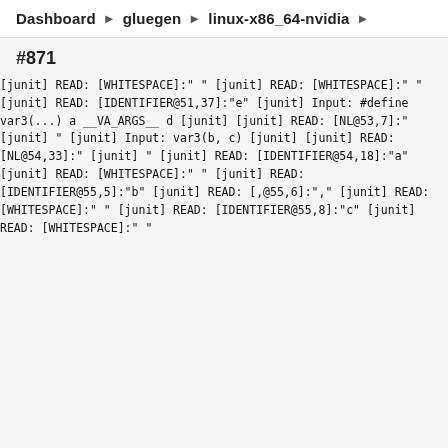Dashboard ▶ gluegen ▶ linux-x86_64-nvidia ▶
#871
[junit] READ: [WHITESPACE]:" "
        [junit] READ: [WHITESPACE]:" "
        [junit] READ: [IDENTIFIER@51,37]:"e"
        [junit] Input: #define var3(...) a __VA_ARGS__ d
        [junit]
        [junit] READ: [NL@53,7]:"
        [junit] "
        [junit] Input: var3(b, c)
        [junit]
        [junit] READ: [NL@54,33]:"
        [junit] "
        [junit] READ: [IDENTIFIER@54,18]:"a"
        [junit] READ: [WHITESPACE]:" "
        [junit] READ: [IDENTIFIER@55,5]:"b"
        [junit] READ: [,@55,6]:","
        [junit] READ: [WHITESPACE]:" "
        [junit] READ: [IDENTIFIER@55,8]:"c"
        [junit] READ: [WHITESPACE]:" "